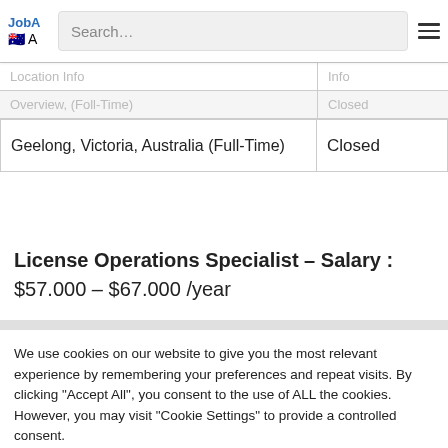JobA A [logo with Australian flag] Search...
| Location Info | Info |
| --- | --- |
| Geelong, Victoria, Australia (Full-Time) | Closed |
License Operations Specialist – Salary : $57.000 – $67.000 /year
We use cookies on our website to give you the most relevant experience by remembering your preferences and repeat visits. By clicking "Accept All", you consent to the use of ALL the cookies. However, you may visit "Cookie Settings" to provide a controlled consent.